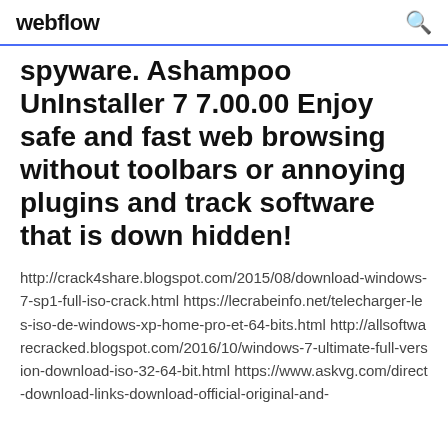webflow
spyware. Ashampoo UnInstaller 7 7.00.00 Enjoy safe and fast web browsing without toolbars or annoying plugins and track software that is down hidden!
http://crack4share.blogspot.com/2015/08/download-windows-7-sp1-full-iso-crack.html https://lecrabeinfo.net/telecharger-les-iso-de-windows-xp-home-pro-et-64-bits.html http://allsoftwarecracked.blogspot.com/2016/10/windows-7-ultimate-full-version-download-iso-32-64-bit.html https://www.askvg.com/direct-download-links-download-official-original-and-